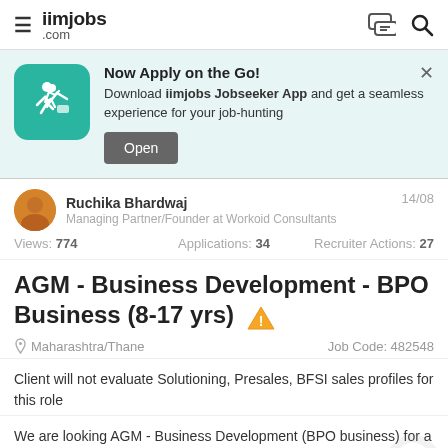iimjobs .com
[Figure (infographic): App download banner: teal icon with running person, text 'Now Apply on the Go! Download iimjobs Jobseeker App and get a seamless experience for your job-hunting', Open button, X close button]
Ruchika Bhardwaj
Managing Partner/Founder at Workoid Consultants
14/08
Views: 774   Applications: 34   Recruiter Actions: 27
AGM - Business Development - BPO Business (8-17 yrs)
Maharashtra/Thane   Job Code: 482548
Client will not evaluate Solutioning, Presales, BFSI sales profiles for this role
We are looking AGM - Business Development (BPO business) for a client with a global presence based at Mumbai